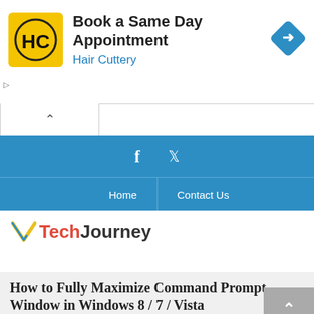[Figure (screenshot): Hair Cuttery advertisement banner with logo, 'Book a Same Day Appointment' text, and navigation arrow icon]
[Figure (screenshot): Blue social media bar with Facebook and Twitter icons]
[Figure (screenshot): Blue navigation bar with Home and Contact Us links]
[Figure (logo): TechJourney logo with red and dark text and V symbol, tagline 'Journey in the World of Technology']
How to Fully Maximize Command Prompt Window in Windows 8 / 7 / Vista
Home » Operating Systems » Windows » How to Fully Maximize Command Prompt Window in Windows 8 / 7/ Vista